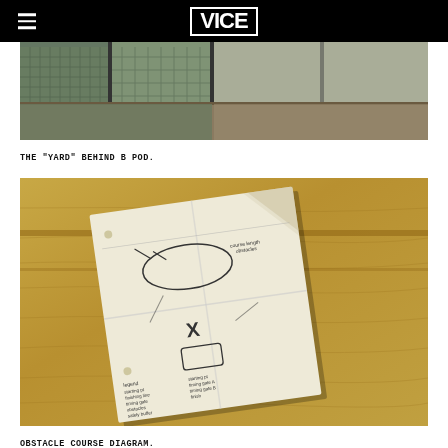VICE
[Figure (photo): Interior room with glass/mesh fence windows visible, hardwood floor, the yard behind B pod]
THE "YARD" BEHIND B POD.
[Figure (photo): Handwritten obstacle course diagram on crumpled paper resting on a wooden shelf or bench]
OBSTACLE COURSE DIAGRAM.